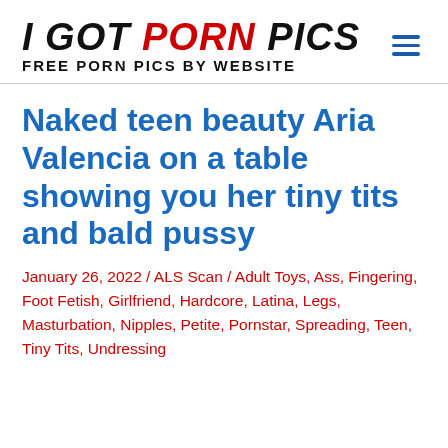I GOT PORN PICS FREE PORN PICS BY WEBSITE
Naked teen beauty Aria Valencia on a table showing you her tiny tits and bald pussy
January 26, 2022 / ALS Scan / Adult Toys, Ass, Fingering, Foot Fetish, Girlfriend, Hardcore, Latina, Legs, Masturbation, Nipples, Petite, Pornstar, Spreading, Teen, Tiny Tits, Undressing